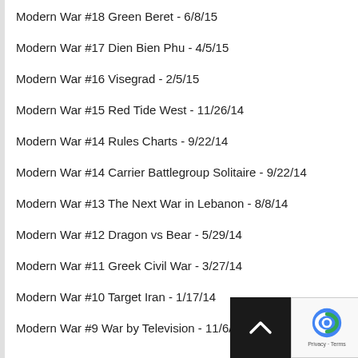Modern War #18 Green Beret - 6/8/15
Modern War #17 Dien Bien Phu - 4/5/15
Modern War #16 Visegrad - 2/5/15
Modern War #15 Red Tide West - 11/26/14
Modern War #14 Rules Charts - 9/22/14
Modern War #14 Carrier Battlegroup Solitaire - 9/22/14
Modern War #13 The Next War in Lebanon - 8/8/14
Modern War #12 Dragon vs Bear - 5/29/14
Modern War #11 Greek Civil War - 3/27/14
Modern War #10 Target Iran - 1/17/14
Modern War #9 War by Television - 11/6/13